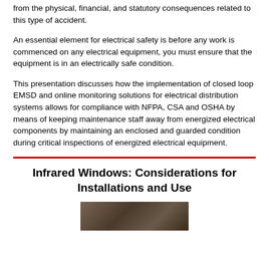from the physical, financial, and statutory consequences related to this type of accident.
An essential element for electrical safety is before any work is commenced on any electrical equipment, you must ensure that the equipment is in an electrically safe condition.
This presentation discusses how the implementation of closed loop EMSD and online monitoring solutions for electrical distribution systems allows for compliance with NFPA, CSA and OSHA by means of keeping maintenance staff away from energized electrical components by maintaining an enclosed and guarded condition during critical inspections of energized electrical equipment.
Infrared Windows: Considerations for Installations and Use
[Figure (photo): Photograph at the bottom of the page, partially visible, showing an infrared window or electrical equipment installation scene.]